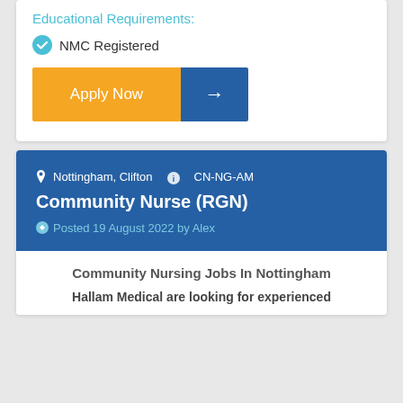Educational Requirements:
NMC Registered
[Figure (other): Apply Now button with orange left section labeled 'Apply Now' and blue right section with right arrow icon]
Nottingham, Clifton   CN-NG-AM
Community Nurse (RGN)
Posted 19 August 2022 by Alex
Community Nursing Jobs In Nottingham
Hallam Medical are looking for experienced